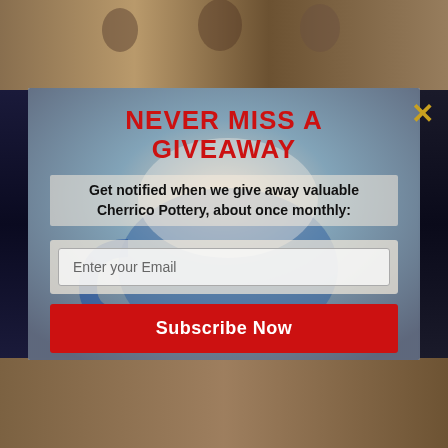[Figure (photo): Background collage showing pottery workshop scenes and cosmic/galaxy imagery on sides]
NEVER MISS A GIVEAWAY
Get notified when we give away valuable Cherrico Pottery, about once monthly:
Enter your Email
Subscribe Now
NO THANKS